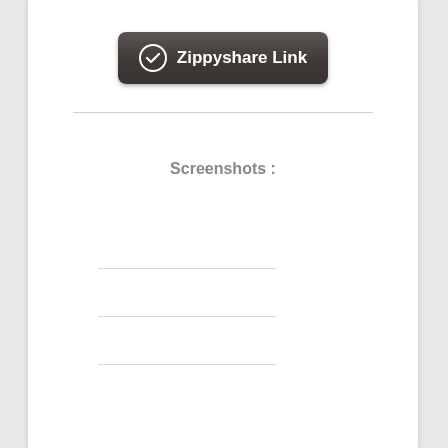[Figure (screenshot): A dark rounded button with a checkmark circle icon on the left and the bold white text 'Zippyshare Link' on the right, set against a dark charcoal gradient background.]
Screenshots :